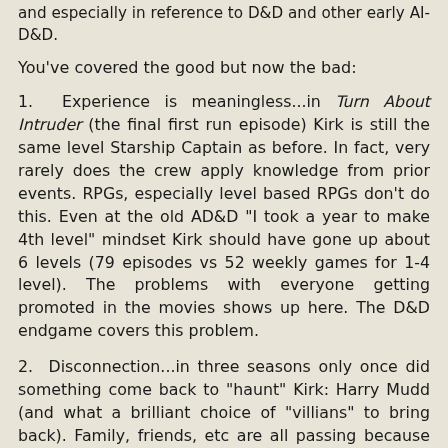and especially in reference to D&D and other early AI-D&D.
You've covered the good but now the bad:
1.  Experience is meaningless...in Turn About Intruder (the final first run episode) Kirk is still the same level Starship Captain as before. In fact, very rarely does the crew apply knowledge from prior events. RPGs, especially level based RPGs don't do this. Even at the old AD&D "I took a year to make 4th level" mindset Kirk should have gone up about 6 levels (79 episodes vs 52 weekly games for 1-4 level). The problems with everyone getting promoted in the movies shows up here. The D&D endgame covers this problem.
2.  Disconnection...in three seasons only once did something come back to "haunt" Kirk: Harry Mudd (and what a brilliant choice of "villians" to bring back). Family, friends, etc are all passing because the adventure is key. In RPGs we are attached to the characters and want that kind of thing to persist.
Right now I think the early seasons of X-Files, especially Season 1 before they committed to a meta-plot, are a